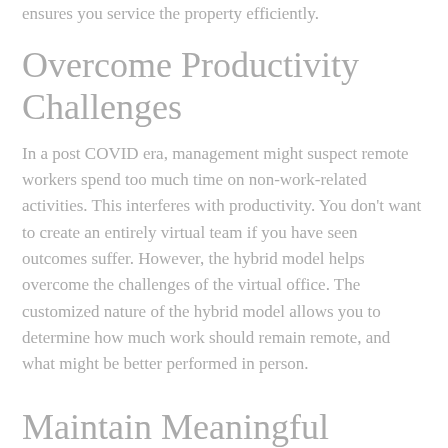ensures you service the property efficiently.
Overcome Productivity Challenges
In a post COVID era, management might suspect remote workers spend too much time on non-work-related activities. This interferes with productivity. You don't want to create an entirely virtual team if you have seen outcomes suffer. However, the hybrid model helps overcome the challenges of the virtual office. The customized nature of the hybrid model allows you to determine how much work should remain remote, and what might be better performed in person.
Maintain Meaningful